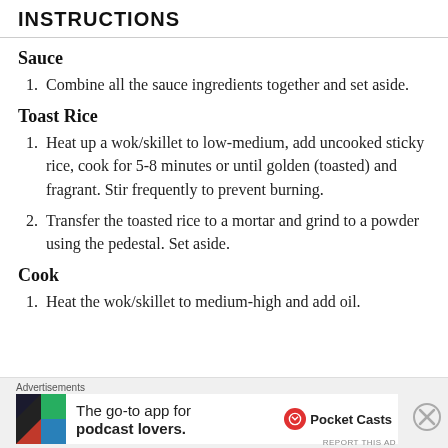INSTRUCTIONS
Sauce
Combine all the sauce ingredients together and set aside.
Toast Rice
Heat up a wok/skillet to low-medium, add uncooked sticky rice, cook for 5-8 minutes or until golden (toasted) and fragrant. Stir frequently to prevent burning.
Transfer the toasted rice to a mortar and grind to a powder using the pedestal. Set aside.
Cook
Heat the wok/skillet to medium-high and add oil.
[Figure (other): Pocket Casts advertisement banner: 'The go-to app for podcast lovers.' with Pocket Casts logo]